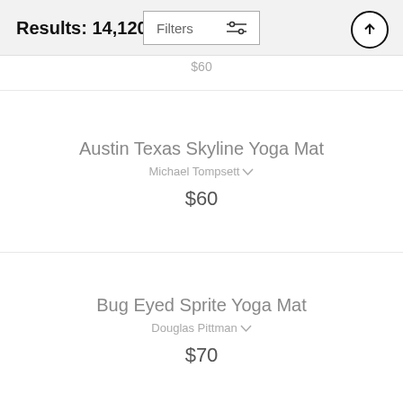Results: 14,120
$60
Austin Texas Skyline Yoga Mat
Michael Tompsett
$60
Bug Eyed Sprite Yoga Mat
Douglas Pittman
$70